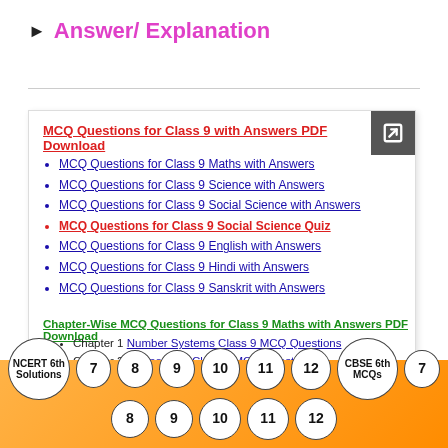▶ Answer/ Explanation
MCQ Questions for Class 9 with Answers PDF Download
MCQ Questions for Class 9 Maths with Answers
MCQ Questions for Class 9 Science with Answers
MCQ Questions for Class 9 Social Science with Answers
MCQ Questions for Class 9 Social Science Quiz
MCQ Questions for Class 9 English with Answers
MCQ Questions for Class 9 Hindi with Answers
MCQ Questions for Class 9 Sanskrit with Answers
Chapter-Wise MCQ Questions for Class 9 Maths with Answers PDF Download
Chapter 1 Number Systems Class 9 MCQ Questions
Chapter 2 Polynomials Class 9 MCQ Questions
NCERT 6th Solutions | 7 | 8 | 9 | 10 | 11 | 12 | CBSE 6th MCQs | 7 | 8 | 9 | 10 | 11 | 12